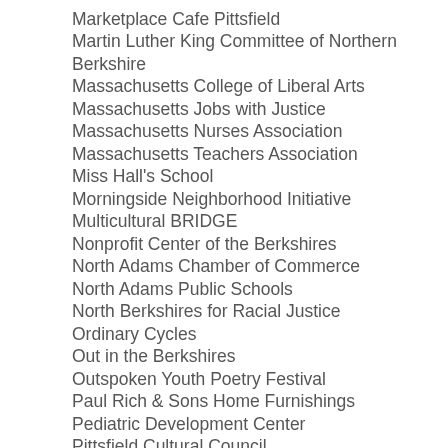Marketplace Cafe Pittsfield
Martin Luther King Committee of Northern Berkshire
Massachusetts College of Liberal Arts
Massachusetts Jobs with Justice
Massachusetts Nurses Association
Massachusetts Teachers Association
Miss Hall's School
Morningside Neighborhood Initiative
Multicultural BRIDGE
Nonprofit Center of the Berkshires
North Adams Chamber of Commerce
North Adams Public Schools
North Berkshires for Racial Justice
Ordinary Cycles
Out in the Berkshires
Outspoken Youth Poetry Festival
Paul Rich & Sons Home Furnishings
Pediatric Development Center
Pittsfield Cultural Council
Pittsfield Democratic Committee
Pittsfield Public Schools
Planned Parenthood Advocacy Fund of Massachusetts